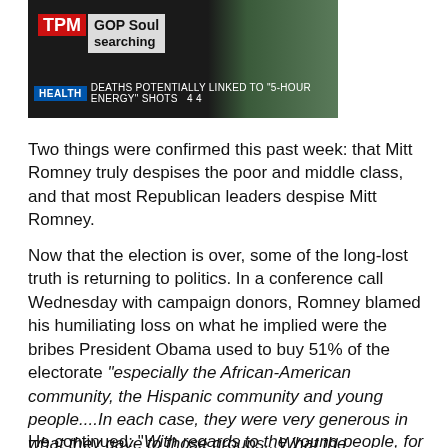[Figure (screenshot): TV news screenshot showing TPM logo with 'GOP Soul Searching' headline and lower ticker reading 'HEALTH DEATHS POTENTIALLY LINKED TO 5-HOUR ENERGY SHOTS']
Two things were confirmed this past week: that Mitt Romney truly despises the poor and middle class, and that most Republican leaders despise Mitt Romney.
Now that the election is over, some of the long-lost truth is returning to politics. In a conference call Wednesday with campaign donors, Romney blamed his humiliating loss on what he implied were the bribes President Obama used to buy 51% of the electorate “especially the African-American community, the Hispanic community and young people....In each case, they were very generous in what they gave to those groups...What the president’s campaign did was focus on certain  members of his base coalition, give them extraordinary financial gifts from the  government, and then work very aggressively to turn them out to vote, and that strategy worked.”
He continued: "With regards to the young people, for